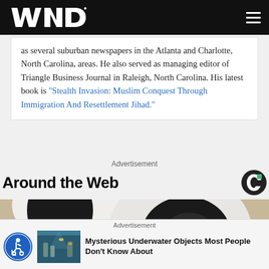[Figure (logo): WND logo in white on black header bar with hamburger menu icon on right]
as several suburban newspapers in the Atlanta and Charlotte, North Carolina, areas. He also served as managing editor of Triangle Business Journal in Raleigh, North Carolina. His latest book is "Stealth Invasion: Muslim Conquest Through Immigration And Resettlement Jihad."
Advertisement
Around the Web
[Figure (logo): Taboola 'C' logo icon in green and black circle]
[Figure (photo): Large underwater/close-up image, appears to show a white and black circular object, possibly an underwater structure or animal eye]
Advertisement
[Figure (photo): Accessibility icon - person in wheelchair inside blue circle]
[Figure (photo): Thumbnail of underwater scene with submerged statues and fish]
Mysterious Underwater Objects Most People Don't Know About